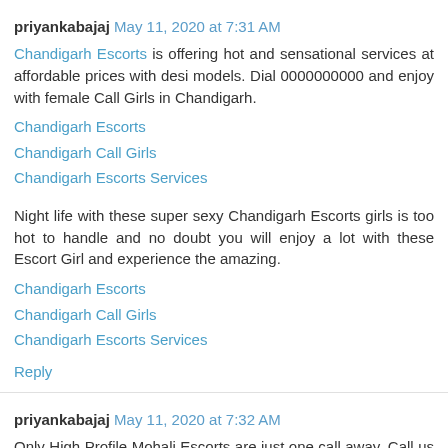priyankabajaj May 11, 2020 at 7:31 AM
Chandigarh Escorts is offering hot and sensational services at affordable prices with desi models. Dial 0000000000 and enjoy with female Call Girls in Chandigarh.
Chandigarh Escorts
Chandigarh Call Girls
Chandigarh Escorts Services
Night life with these super sexy Chandigarh Escorts girls is too hot to handle and no doubt you will enjoy a lot with these Escort Girl and experience the amazing.
Chandigarh Escorts
Chandigarh Call Girls
Chandigarh Escorts Services
Reply
priyankabajaj May 11, 2020 at 7:32 AM
Only High Profile Mohali Escorts are just one call away. Call us on above given number and get hundreds of high